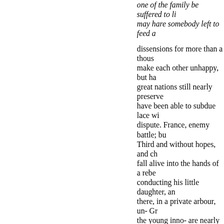one of the family be suffered to li... may hare somebody left to feed a...
dissensions for more than a thous... make each other unhappy, but ha... great nations still nearly preserve... have been able to subdue lace wi... dispute. France, enemy battle; bu... Third and without hopes, and ch... fall alive into the hands of a rebe... conducting his little daughter, an... there, in a private arbour, un- Gr... the young inno- are nearly still th... himself, leav- the blood of so ma... blood on so many cities, produce... considerable. The Christian princ... from the enemies of Christendon...
they have gained nothing from ea... because they preferred ambition ... character of enemies to mankind... neglecting morality for opinion, s... interests of society. properly be s... history of Euto its empire, than t... crimes. empire as large as Euro...